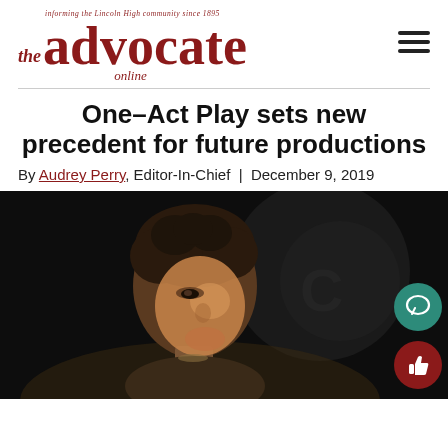the advocate online — informing the Lincoln High community since 1895
One-Act Play sets new precedent for future productions
By Audrey Perry, Editor-In-Chief | December 9, 2019
[Figure (photo): A performer (likely a student) on a dark stage, photographed in profile from the shoulders up, with short dark curly hair and stage lighting illuminating their face from below.]